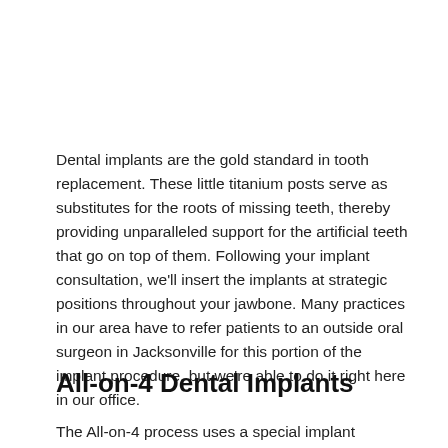Dental implants are the gold standard in tooth replacement. These little titanium posts serve as substitutes for the roots of missing teeth, thereby providing unparalleled support for the artificial teeth that go on top of them. Following your implant consultation, we'll insert the implants at strategic positions throughout your jawbone. Many practices in our area have to refer patients to an outside oral surgeon in Jacksonville for this portion of the implant procedure, but we're able to do it right here in our office.
All-on-4 Dental Implants
The All-on-4 process uses a special implant